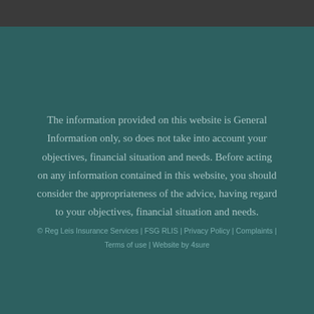The information provided on this website is General Information only, so does not take into account your objectives, financial situation and needs. Before acting on any information contained in this website, you should consider the appropriateness of the advice, having regard to your objectives, financial situation and needs.
© Reg Leis Insurance Services | FSG RLIS | Privacy Policy | Complaints | Terms of use | Website by 4sure